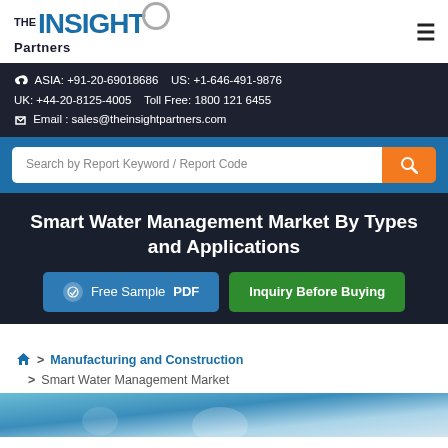[Figure (logo): The Insight Partners logo with circular icon and hamburger menu icon]
ASIA: +91-20-69018686   US: +1-646-491-9876
UK: +44-20-8125-4005   Toll Free: 1800 121 6455
Email : sales@theinsightpartners.com
Search by Report Keyword / Report Code
Smart Water Management Market By Types and Applications
Free Sample PDF   Inquiry Before Buying
> Manufacturing and Construction
> Smart Water Management Market
[Figure (photo): Partial blue water-themed image at bottom of page]